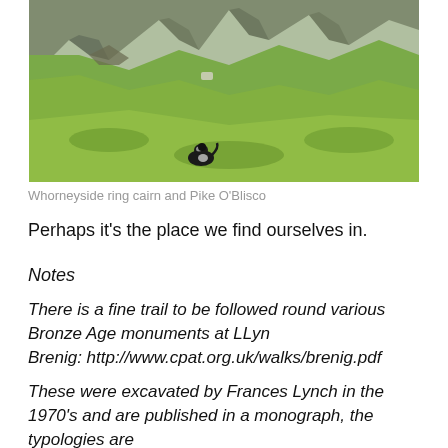[Figure (photo): Landscape photograph showing green hillside with a black and white dog in the foreground and rocky mountains in the background. Whorneyside ring cairn area with Pike O'Blisco visible.]
Whorneyside ring cairn and Pike O'Blisco
Perhaps it's the place we find ourselves in.
Notes
There is a fine trail to be followed round various Bronze Age monuments at LLyn Brenig: http://www.cpat.org.uk/walks/brenig.pdf
These were excavated by Frances Lynch in the 1970's and are published in a monograph, the typologies are